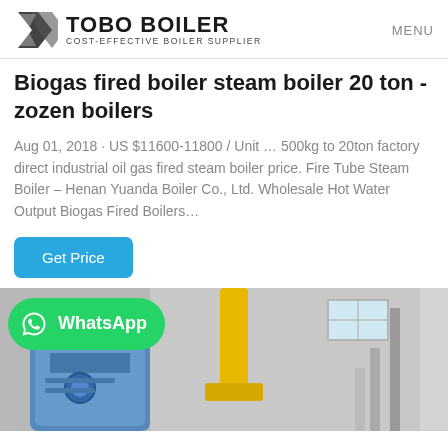TOBO BOILER – COST-EFFECTIVE BOILER SUPPLIER | MENU
Biogas fired boiler steam boiler 20 ton - zozen boilers
Aug 01, 2018 · US $11600-11800 / Unit … 500kg to 20ton factory direct industrial oil gas fired steam boiler price. Fire Tube Steam Boiler – Henan Yuanda Boiler Co., Ltd. Wholesale Hot Water Output Biogas Fired Boilers…
Get Price
[Figure (photo): Industrial boiler equipment with yellow pipes in a facility, with a WhatsApp contact badge overlay]